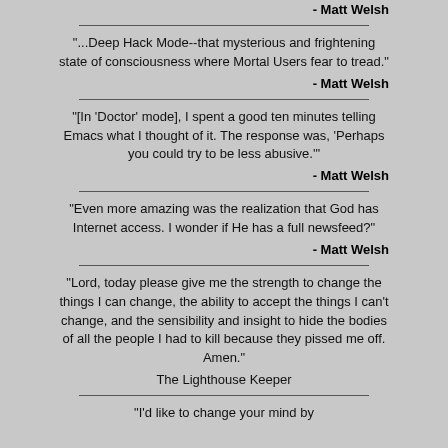- Matt Welsh
"...Deep Hack Mode--that mysterious and frightening state of consciousness where Mortal Users fear to tread."
- Matt Welsh
"[In 'Doctor' mode], I spent a good ten minutes telling Emacs what I thought of it. The response was, 'Perhaps you could try to be less abusive.'"
- Matt Welsh
"Even more amazing was the realization that God has Internet access. I wonder if He has a full newsfeed?"
- Matt Welsh
"Lord, today please give me the strength to change the things I can change, the ability to accept the things I can't change, and the sensibility and insight to hide the bodies of all the people I had to kill because they pissed me off. Amen."
The Lighthouse Keeper
"I'd like to change your mind by